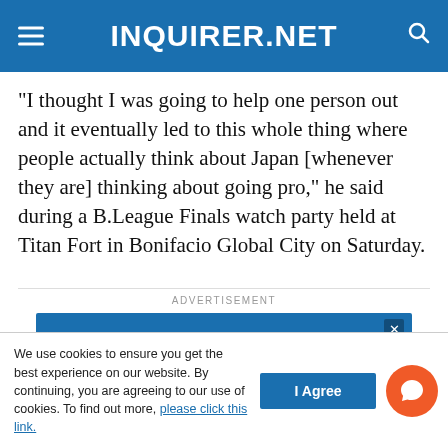INQUIRER.NET
“I thought I was going to help one person out and it eventually led to this whole thing where people actually think about Japan [whenever they are] thinking about going pro,” he said during a B.League Finals watch party held at Titan Fort in Bonifacio Global City on Saturday.
ADVERTISEMENT
[Figure (other): Advertisement banner: Follow us on TWITTER in white bold text on a blue background]
We use cookies to ensure you get the best experience on our website. By continuing, you are agreeing to our use of cookies. To find out more, please click this link.